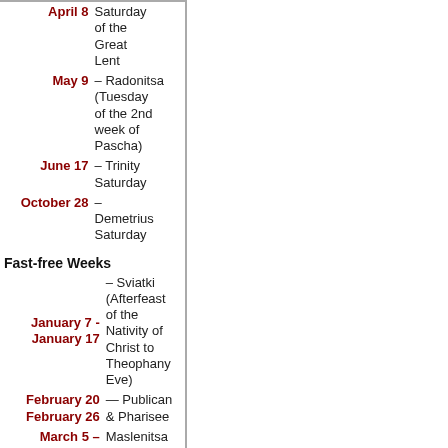| Date | Description |
| --- | --- |
| April 8 | Saturday of the Great Lent |
| May 9 | – Radonitsa (Tuesday of the 2nd week of Pascha) |
| June 17 | – Trinity Saturday |
| October 28 | – Demetrius Saturday |
Fast-free Weeks
| Date | Description |
| --- | --- |
| January 7 - January 17 | – Sviatki (Afterfeast of the Nativity of Christ to Theophany Eve) |
| February 20 February 26 | — Publican & Pharisee |
| March 5 March 11 | — Maslenitsa |
| April 30 - May 6 | – Bright Week |
| June 18 | — Trinity |